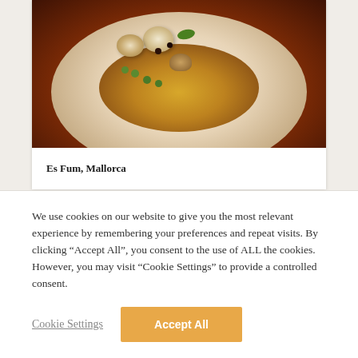[Figure (photo): A gourmet dish on a white plate with scallops, mushrooms, green peas, herbs in an amber/brown sauce, photographed from above on a warm reddish-brown background]
Es Fum, Mallorca
We use cookies on our website to give you the most relevant experience by remembering your preferences and repeat visits. By clicking “Accept All”, you consent to the use of ALL the cookies. However, you may visit “Cookie Settings” to provide a controlled consent.
Cookie Settings
Accept All